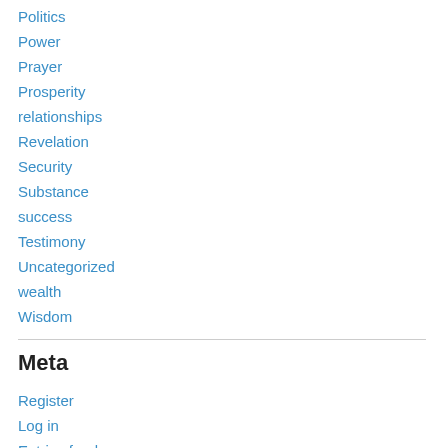Politics
Power
Prayer
Prosperity
relationships
Revelation
Security
Substance
success
Testimony
Uncategorized
wealth
Wisdom
Meta
Register
Log in
Entries feed